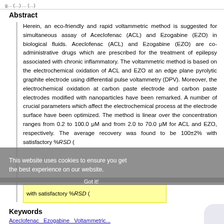g... (...) ... (...)
Abstract
Herein, an eco-friendly and rapid voltammetric method is suggested for simultaneous assay of Aceclofenac (ACL) and Ezogabine (EZO) in biological fluids. Aceclofenac (ACL) and Ezogabine (EZO) are co-administrative drugs which are prescribed for the treatment of epilepsy associated with chronic inflammatory. The voltammetric method is based on the electrochemical oxidation of ACL and EZO at an edge plane pyrolytic graphite electrode using differential pulse voltammetry (DPV). Moreover, the electrochemical oxidation at carbon paste electrode and carbon paste electrodes modified with nanoparticles have been remarked. A number of crucial parameters which affect the electrochemical process at the electrode surface have been optimized. The method is linear over the concentration ranges from 0.2 to 100.0 μM and from 2.0 to 70.0 μM for ACL and EZO, respectively. The average recovery was found to be 100±2% with satisfactory %RSD (
Keywords